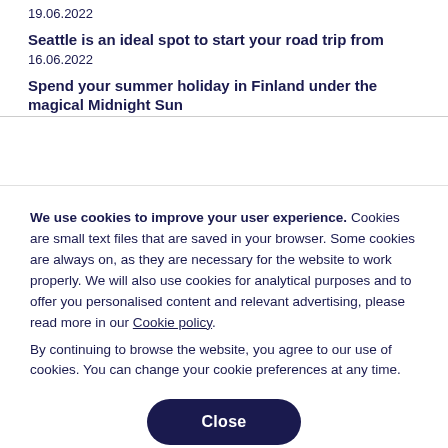19.06.2022
Seattle is an ideal spot to start your road trip from
16.06.2022
Spend your summer holiday in Finland under the magical Midnight Sun
We use cookies to improve your user experience. Cookies are small text files that are saved in your browser. Some cookies are always on, as they are necessary for the website to work properly. We will also use cookies for analytical purposes and to offer you personalised content and relevant advertising, please read more in our Cookie policy.
By continuing to browse the website, you agree to our use of cookies. You can change your cookie preferences at any time.
Close
Set your cookie preferences